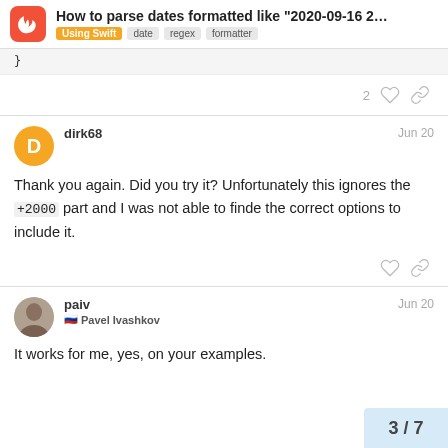How to parse dates formatted like “2020-09-16 2… | Using Swift | date | regex | formatter
}
2 ♥ 🔗
dirk68    Jun 20
Thank you again. Did you try it? Unfortunately this ignores the +2000 part and I was not able to finde the correct options to include it.
paiv    Jun 20
Pavel Ivashkov
It works for me, yes, on your examples.
3 / 7